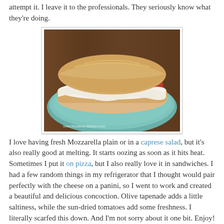attempt it. I leave it to the professionals. They seriously know what they're doing.
[Figure (photo): A mozzarella panini sandwich with sun-dried tomatoes and olive tapenade on a teal/green plate, on a wooden surface. Watermark reads www.thesavvy-kitchen.com]
I love having fresh Mozzarella plain or in a caprese salad, but it's also really good at melting. It starts oozing as soon as it hits heat. Sometimes I put it on pizza, but I also really love it in sandwiches. I had a few random things in my refrigerator that I thought would pair perfectly with the cheese on a panini, so I went to work and created a beautiful and delicious concoction. Olive tapenade adds a little saltiness, while the sun-dried tomatoes add some freshness. I literally scarfed this down. And I'm not sorry about it one bit. Enjoy!
[Figure (photo): Bottom portion of a similar food photo showing a teal/green plate on a wooden surface, cropped at the bottom of the page.]